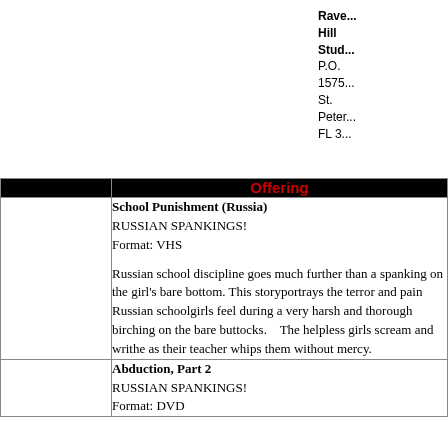Raven Hill Studios P.O. 15757 St. Peter FL 3
|  | Offering |
| --- | --- |
|  | School Punishment (Russia)
RUSSIAN SPANKINGS!
Format: VHS

Russian school discipline goes much further than a spanking on the girl's bare bottom. This storyportrays the terror and pain Russian schoolgirls feel during a very harsh and thorough birching on the bare buttocks.    The helpless girls scream and writhe as their teacher whips them without mercy. |
|  | Abduction, Part 2
RUSSIAN SPANKINGS!
Format: DVD |